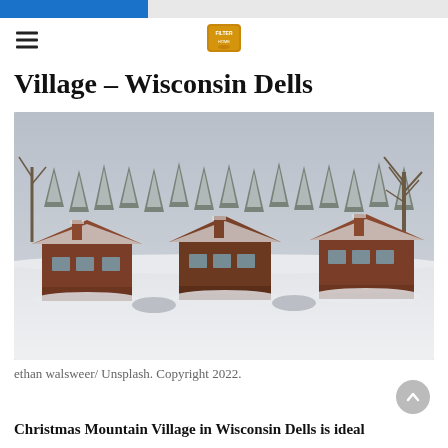Village – Wisconsin Dells
[Figure (photo): Winter scene of Christmas Mountain Village in Wisconsin Dells. Three brown/red chalet-style cabin buildings covered in snow, set against a dense forest of snow-laden evergreen and bare deciduous trees under an overcast grey sky. Deep snow covers the ground in the foreground.]
ethan walsweer/ Unsplash. Copyright 2022.
Christmas Mountain Village in Wisconsin Dells is ideal